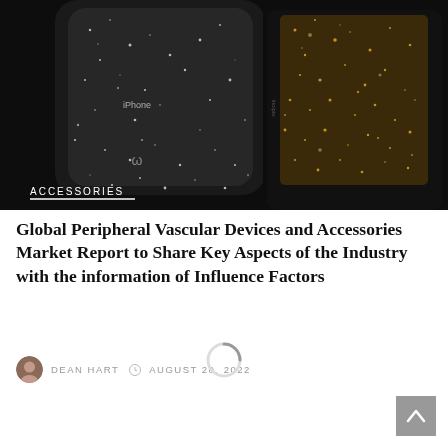[Figure (photo): Phone accessories photo showing two smartphone cases — one with silver/black glitter sparkle effect (Case-Mate branded) on the left, and one black case with gold glitter interior (Incipio branded) on the right, against a dark background. An 'ACCESSORIES' label with white underline appears in the lower-left of the image.]
Global Peripheral Vascular Devices and Accessories Market Report to Share Key Aspects of the Industry with the information of Influence Factors
DEAN HART   AUGUST 20, 2022